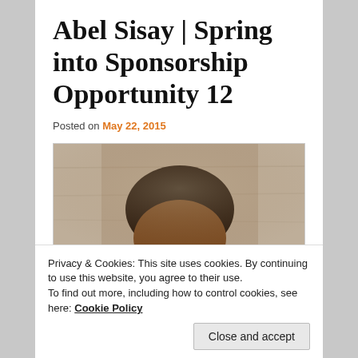Abel Sisay | Spring into Sponsorship Opportunity 12
Posted on May 22, 2015
[Figure (photo): Close-up photo of a young person's head against a stone/concrete wall background, showing the top portion of their face and dark hair.]
Privacy & Cookies: This site uses cookies. By continuing to use this website, you agree to their use.
To find out more, including how to control cookies, see here: Cookie Policy
Close and accept